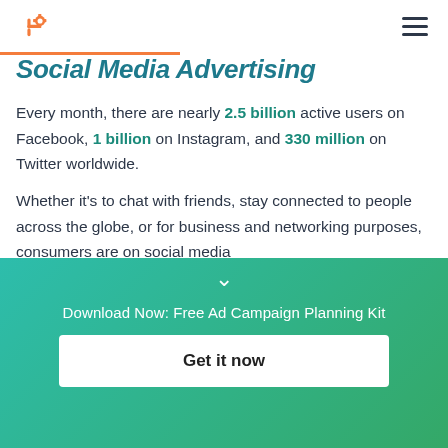HubSpot logo and navigation menu
Social Media Advertising
Every month, there are nearly 2.5 billion active users on Facebook, 1 billion on Instagram, and 330 million on Twitter worldwide.
Whether it's to chat with friends, stay connected to people across the globe, or for business and networking purposes, consumers are on social media
Download Now: Free Ad Campaign Planning Kit
Get it now